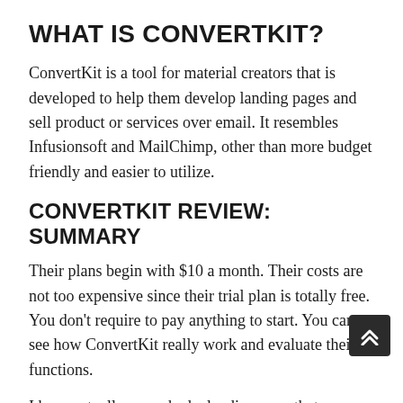WHAT IS CONVERTKIT?
ConvertKit is a tool for material creators that is developed to help them develop landing pages and sell product or services over email. It resembles Infusionsoft and MailChimp, other than more budget friendly and easier to utilize.
CONVERTKIT REVIEW: SUMMARY
Their plans begin with $10 a month. Their costs are not too expensive since their trial plan is totally free. You don't require to pay anything to start. You can see how ConvertKit really work and evaluate their functions.
I have actually never had a landing page that was so easy to use. It's a great piece of software. You can produce landing pages from scratch or import templates from other existing themes. This…